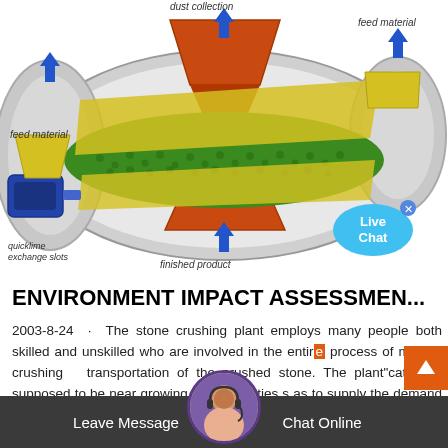[Figure (schematic): Cross-sectional engineering diagram of a stone crushing / grinding mill showing: dust collection arrow (top center), feed material labels (top left and top right with blue arrows), finished product label (bottom center with blue arrow), quicklime exchange slots label (bottom left), and internal components including green pellets/media, yellow/orange/blue mechanical parts inside an oval-shaped rotating drum.]
ENVIRONMENT IMPACT ASSESSMEN...
2003-8-24 · The stone crushing plant employs many people both skilled and unskilled who are involved in the entire process of mining, crushing and transportation of the crushed stone. The plant's location is supposed to be near growing towns or cities so as to supply the demand for